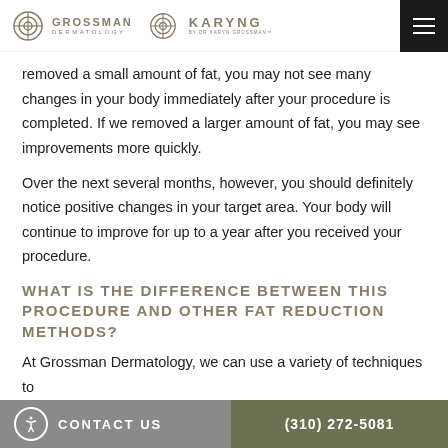Grossman Dermatology | Karyng by Dr Karyn Grossman
removed a small amount of fat, you may not see many changes in your body immediately after your procedure is completed. If we removed a larger amount of fat, you may see improvements more quickly.
Over the next several months, however, you should definitely notice positive changes in your target area. Your body will continue to improve for up to a year after you received your procedure.
WHAT IS THE DIFFERENCE BETWEEN THIS PROCEDURE AND OTHER FAT REDUCTION METHODS?
At Grossman Dermatology, we can use a variety of techniques to
CONTACT US   (310) 272-5081